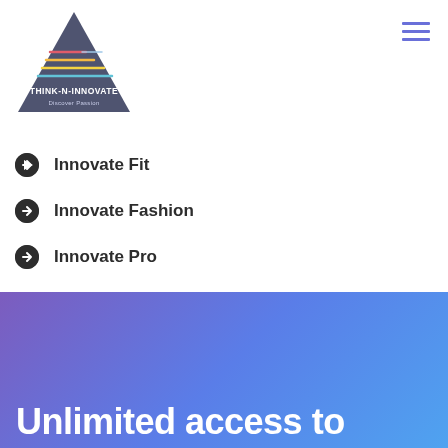[Figure (logo): Think-N-Innovate triangle logo with colored lines and text 'THINK-N-INNOVATE Discover Passion']
Innovate Fit
Innovate Fashion
Innovate Pro
Unlimited access to